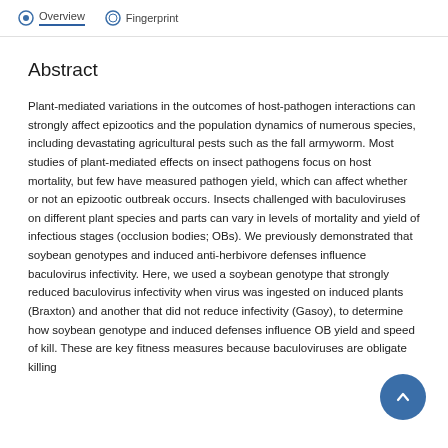Overview · Fingerprint
Abstract
Plant-mediated variations in the outcomes of host-pathogen interactions can strongly affect epizootics and the population dynamics of numerous species, including devastating agricultural pests such as the fall armyworm. Most studies of plant-mediated effects on insect pathogens focus on host mortality, but few have measured pathogen yield, which can affect whether or not an epizootic outbreak occurs. Insects challenged with baculoviruses on different plant species and parts can vary in levels of mortality and yield of infectious stages (occlusion bodies; OBs). We previously demonstrated that soybean genotypes and induced anti-herbivore defenses influence baculovirus infectivity. Here, we used a soybean genotype that strongly reduced baculovirus infectivity when virus was ingested on induced plants (Braxton) and another that did not reduce infectivity (Gasoy), to determine how soybean genotype and induced defenses influence OB yield and speed of kill. These are key fitness measures because baculoviruses are obligate killing